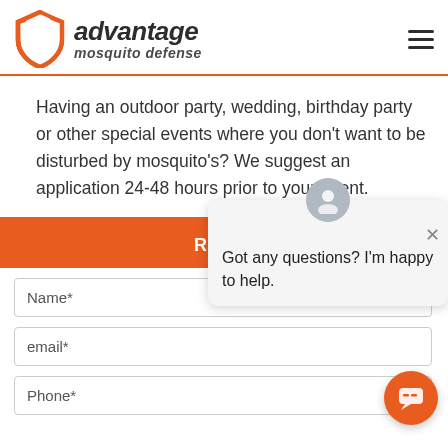[Figure (logo): Advantage Mosquito Defense logo with orange shield icon and italic bold text]
Having an outdoor party, wedding, birthday party or other special events where you don't want to be disturbed by mosquito's? We suggest an application 24-48 hours prior to your event.
REQU
Got any questions? I'm happy to help.